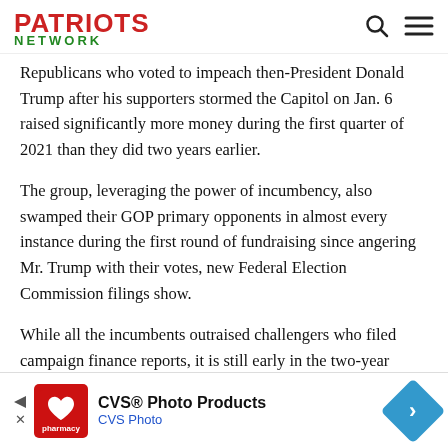PATRIOTS NETWORK
Republicans who voted to impeach then-President Donald Trump after his supporters stormed the Capitol on Jan. 6 raised significantly more money during the first quarter of 2021 than they did two years earlier.
The group, leveraging the power of incumbency, also swamped their GOP primary opponents in almost every instance during the first round of fundraising since angering Mr. Trump with their votes, new Federal Election Commission filings show.
While all the incumbents outraised challengers who filed campaign finance reports, it is still early in the two-year election cycle and money is just one factor in typically low-
[Figure (other): CVS Photo Products advertisement banner with CVS pharmacy logo, text 'CVS® Photo Products' and 'CVS Photo', and a blue diamond-shaped arrow icon on the right.]